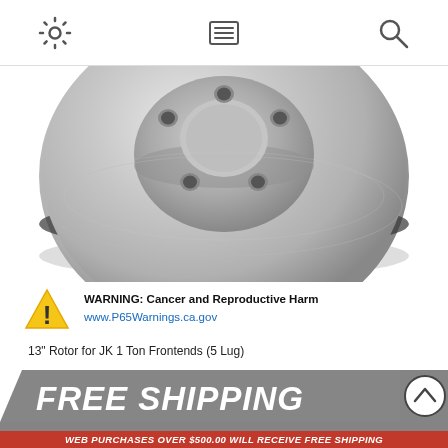[Figure (screenshot): Navigation bar with settings gear icon, menu/list icon, and search magnifying glass icon]
[Figure (photo): Brake rotor / disc - a silver metallic ventilated brake disc with multiple mounting holes, viewed from a slightly elevated angle]
WARNING: Cancer and Reproductive Harm
www.P65Warnings.ca.gov
13" Rotor for JK 1 Ton Frontends (5 Lug)
[Figure (infographic): FREE SHIPPING banner - gray ribbon with white bold italic text 'FREE SHIPPING' and a circular up-chevron button. Red sub-banner: 'WEB PURCHASES OVER $500.00 WILL RECEIVE FREE SHIPPING']